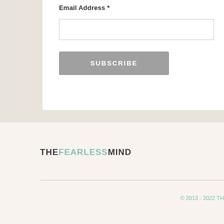Email Address *
[Figure (other): Email address input text field, empty, with border]
SUBSCRIBE
[Figure (logo): THEFEARLESSMIND logo with THE and MIND in dark color and FEARLESS in teal/mint color]
© 2013 - 2022 TH